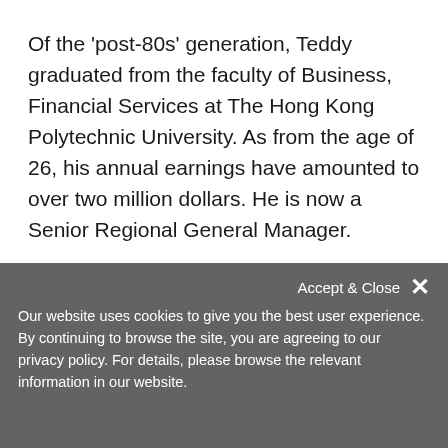Of the 'post-80s' generation, Teddy graduated from the faculty of Business, Financial Services at The Hong Kong Polytechnic University. As from the age of 26, his annual earnings have amounted to over two million dollars. He is now a Senior Regional General Manager.
Prove by deeds, not words!
Q: I want to attain financial independence by age 40
A: I want to be financially independent, run a farm, buy my own land, build about 4 to 5 houses in a rural area before I reach 40. I want to live life to the fullest, at the same time, to do good to others. Nowadays, many people live beyond the age of
Accept & Close
Our website uses cookies to give you the best user experience. By continuing to browse the site, you are agreeing to our privacy policy. For details, please browse the relevant information in our website.